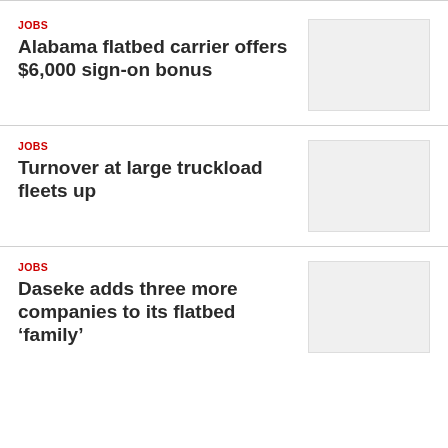JOBS
Alabama flatbed carrier offers $6,000 sign-on bonus
[Figure (photo): Blank/placeholder image for article 1]
JOBS
Turnover at large truckload fleets up
[Figure (photo): Blank/placeholder image for article 2]
JOBS
Daseke adds three more companies to its flatbed ‘family’
[Figure (photo): Blank/placeholder image for article 3]